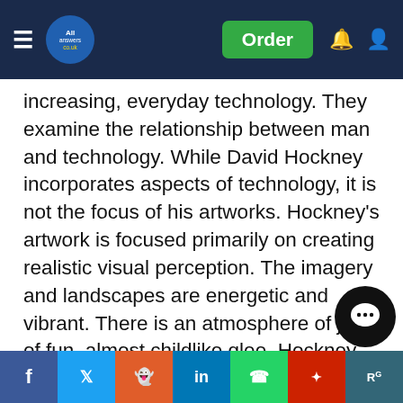All Answers — Order
increasing, everyday technology. They examine the relationship between man and technology. While David Hockney incorporates aspects of technology, it is not the focus of his artworks. Hockney's artwork is focused primarily on creating realistic visual perception. The imagery and landscapes are energetic and vibrant. There is an atmosphere of joy, of fun, almost childlike glee. Hockney transitions from one medium to another, between traditional methods and technology. Hockney manages to utilize all tools available to create artworks, without compromising on skill and technique. Marc Quinn uses technology to create sculptures aimed to explore the finity of life. Quinn uses technology to create a reflection of humanity. It blurs the line between art and science. Rauschenberg's artwork mirrors the fascination with technology… engrossed with the advancements in science, particularly
Social share bar: Facebook, Twitter, Reddit, LinkedIn, WhatsApp, Mixcloud, ResearchGate